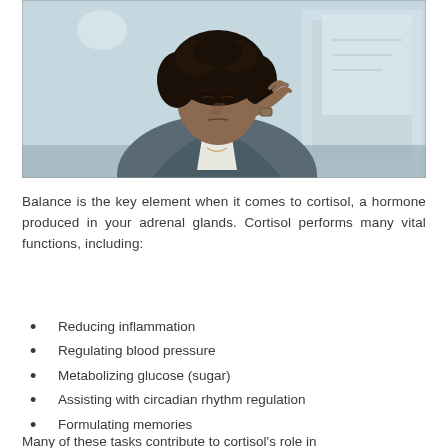[Figure (photo): A Black woman in a grey blazer holding her hand to her head, looking stressed or having a headache, in an office/professional environment with blurred background.]
Balance is the key element when it comes to cortisol, a hormone produced in your adrenal glands. Cortisol performs many vital functions, including:
Reducing inflammation
Regulating blood pressure
Metabolizing glucose (sugar)
Assisting with circadian rhythm regulation
Formulating memories
Many of these tasks contribute to cortisol's role in